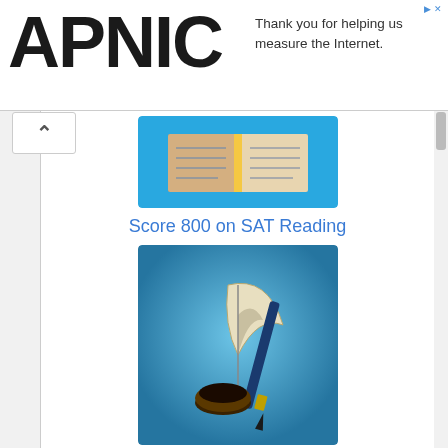[Figure (screenshot): APNIC logo and ad banner: 'Thank you for helping us measure the Internet.']
[Figure (illustration): Open book icon on blue background for 'Score 800 on SAT Reading']
Score 800 on SAT Reading
[Figure (illustration): Quill pen and ink on blue background for 'Score 800 on SAT Writing']
Score 800 on SAT Writing
Series: How to Get to 600 on Each SAT Section:
[Figure (illustration): Calculator icon on green background for 'Score 800 on SAT Math']
Score 800 on SAT Math